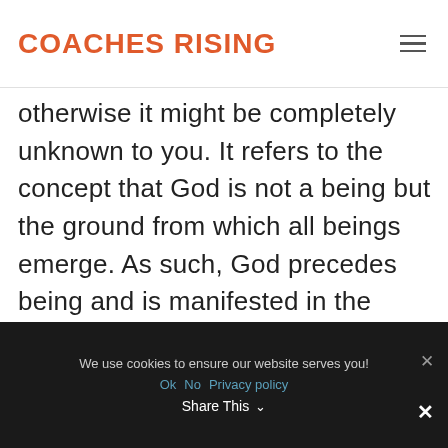COACHES RISING
otherwise it might be completely unknown to you. It refers to the concept that God is not a being but the ground from which all beings emerge. As such, God precedes being and is manifested in the structure of beings.
We use cookies to ensure our website serves you! Ok  No  Privacy policy  Share This